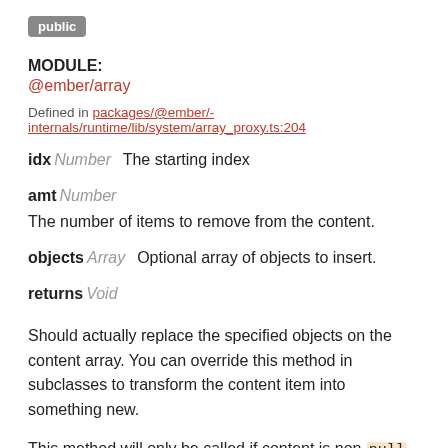[Figure (other): Badge/label reading 'public' in white text on grey rounded rectangle background]
MODULE:
@ember/array
Defined in packages/@ember/-internals/runtime/lib/system/array_proxy.ts:204
idx Number  The starting index
amt Number
The number of items to remove from the content.
objects Array  Optional array of objects to insert.
returns Void
Should actually replace the specified objects on the content array. You can override this method in subclasses to transform the content item into something new.
This method will only be called if content is non-null.